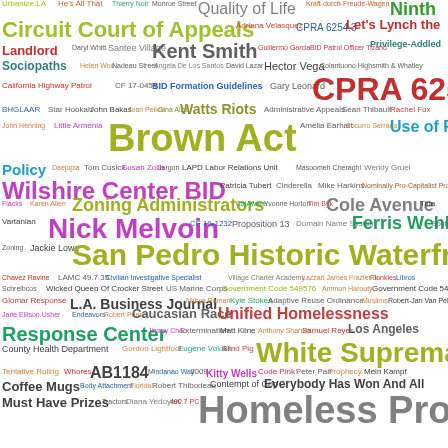[Figure (infographic): Word cloud featuring government, legal, and civic terms from Los Angeles public records and policy topics. Larger words appear more prominently, colored in various hues including green, teal, magenta, red, yellow, blue, orange, purple, and gray. Key large terms include: Brown Act, San Pedro Historic Waterfront BID, Homeless Property, White Supremacy, Unified Homelessness Response Center, Wilshire Center BID, Zoning Administrators, Nick Melvoin, CPRA 6255, Circuit Court of Appeals, Use of Force Policy, Cole Avenue, Ferris Wehbe, and many smaller terms.]